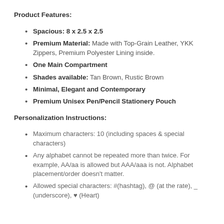Product Features:
Spacious: 8 x 2.5 x 2.5
Premium Material: Made with Top-Grain Leather, YKK Zippers, Premium Polyester Lining inside.
One Main Compartment
Shades available: Tan Brown, Rustic Brown
Minimal, Elegant and Contemporary
Premium Unisex Pen/Pencil Stationery Pouch
Personalization Instructions:
Maximum characters: 10 (including spaces & special characters)
Any alphabet cannot be repeated more than twice. For example, AA/aa is allowed but AAA/aaa is not. Alphabet placement/order doesn't matter.
Allowed special characters: #(hashtag), @ (at the rate), _ (underscore), ♥ (Heart)